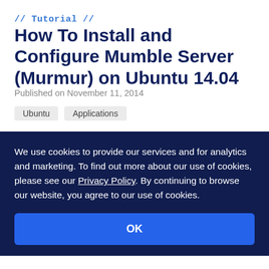// Tutorial //
How To Install and Configure Mumble Server (Murmur) on Ubuntu 14.04
Published on November 11, 2014
Ubuntu
Applications
We use cookies to provide our services and for analytics and marketing. To find out more about our use of cookies, please see our Privacy Policy. By continuing to browse our website, you agree to our use of cookies.
OK